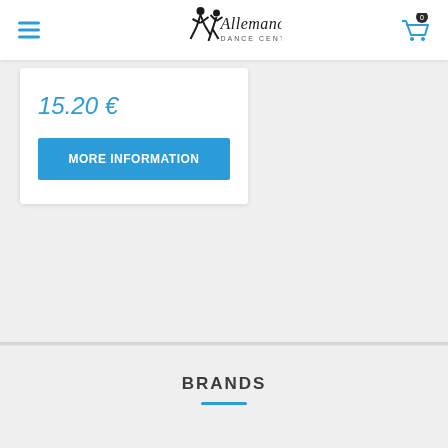[Figure (logo): Allemano Dance Center logo with dancing couple silhouette and cursive text]
15.20 €
MORE INFORMATION
BRANDS